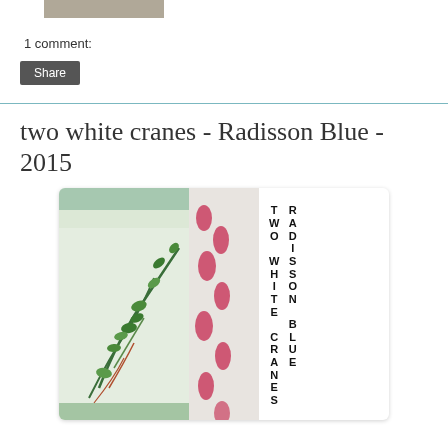[Figure (photo): Partial image at the top of the page, appears to be a thumbnail of a painting or artwork]
1 comment:
Share
two white cranes - Radisson Blue - 2015
[Figure (photo): Book or artwork cover showing a painting of green leafy branches on the left and pink/red teardrop shapes on a light background on the right, with vertical text reading 'TWO WHITE CRANES' and 'RADISSON BLUE']